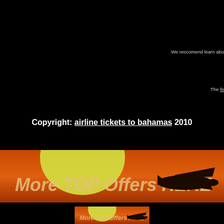We reccomend learn abo
The fe
Copyright: airline tickets to bahamas 2010
[Figure (illustration): Banner image with orange/red sunset background, yellow sun, dark silhouette of airplane, text reading 'More TOP Offers HERE']
[Figure (illustration): Second identical banner image with orange/red sunset background, yellow sun, dark silhouette of airplane, text reading 'More TOP Offers HERE']